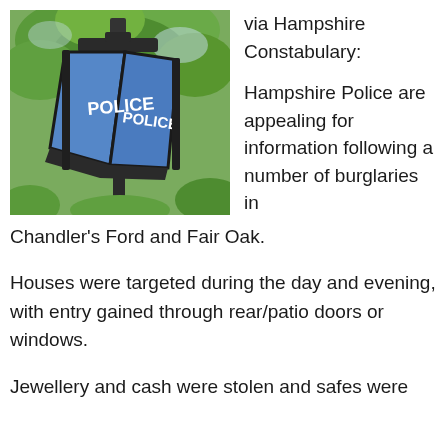[Figure (photo): A blue police lantern sign with 'POLICE' written on two visible faces, mounted on a post against a background of green trees.]
via Hampshire Constabulary:
Hampshire Police are appealing for information following a number of burglaries in Chandler’s Ford and Fair Oak.
Houses were targeted during the day and evening, with entry gained through rear/patio doors or windows.
Jewellery and cash were stolen and safes were